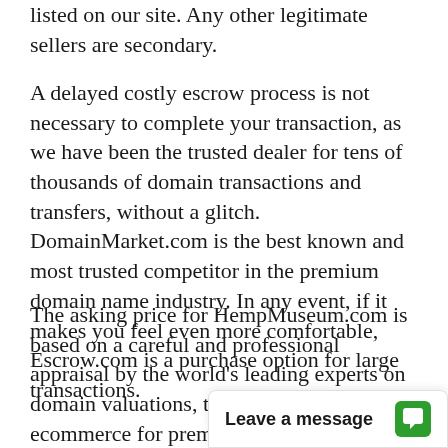listed on our site. Any other legitimate sellers are secondary.
A delayed costly escrow process is not necessary to complete your transaction, as we have been the trusted dealer for tens of thousands of domain transactions and transfers, without a glitch. DomainMarket.com is the best known and most trusted competitor in the premium domain name industry. In any event, if it makes you feel even more comfortable, Escrow.com is a purchase option for large transactions.
The asking price for HempMuseum.com is based on a careful and professional appraisal by the world's leading experts on domain valuations, the inventors of ecommerce for premi[um domains. This sale price has been] explicitly certified to b[e fair by...]